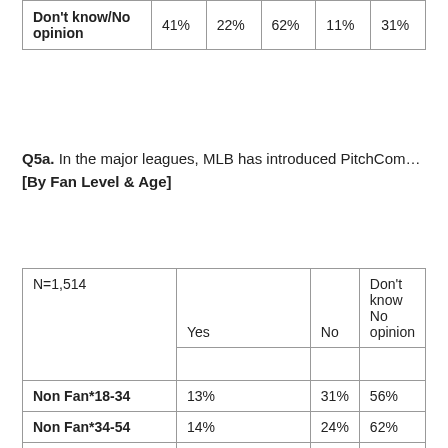|  |  |  |  |  |  |
| --- | --- | --- | --- | --- | --- |
| Don't know/No opinion | 41% | 22% | 62% | 11% | 31% |
Q5a. In the major leagues, MLB has introduced PitchCom… [By Fan Level & Age]
| N=1,514 | Yes | No | Don't know No opinion |
| --- | --- | --- | --- |
| Non Fan*18-34 | 13% | 31% | 56% |
| Non Fan*34-54 | 14% | 24% | 62% |
| Non Fan*55+ | 13% | 22% | 65% |
| Sports Fan*18-34 | 60% | 23% | 17% |